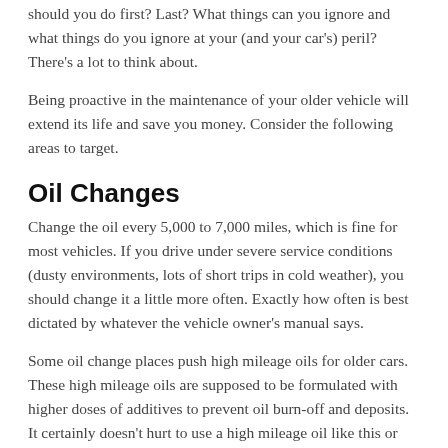should you do first? Last? What things can you ignore and what things do you ignore at your (and your car's) peril? There's a lot to think about.
Being proactive in the maintenance of your older vehicle will extend its life and save you money. Consider the following areas to target.
Oil Changes
Change the oil every 5,000 to 7,000 miles, which is fine for most vehicles. If you drive under severe service conditions (dusty environments, lots of short trips in cold weather), you should change it a little more often. Exactly how often is best dictated by whatever the vehicle owner's manual says.
Some oil change places push high mileage oils for older cars. These high mileage oils are supposed to be formulated with higher doses of additives to prevent oil burn-off and deposits. It certainly doesn't hurt to use a high mileage oil like this or